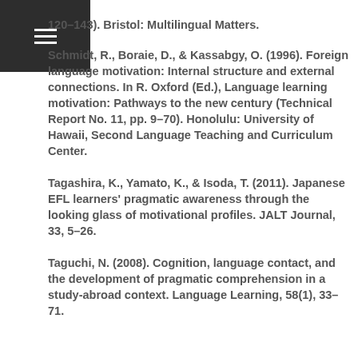120–143). Bristol: Multilingual Matters.
Schmidt, R., Boraie, D., & Kassabgy, O. (1996). Foreign language motivation: Internal structure and external connections. In R. Oxford (Ed.), Language learning motivation: Pathways to the new century (Technical Report No. 11, pp. 9–70). Honolulu: University of Hawaii, Second Language Teaching and Curriculum Center.
Tagashira, K., Yamato, K., & Isoda, T. (2011). Japanese EFL learners' pragmatic awareness through the looking glass of motivational profiles. JALT Journal, 33, 5–26.
Taguchi, N. (2008). Cognition, language contact, and the development of pragmatic comprehension in a study-abroad context. Language Learning, 58(1), 33–71.